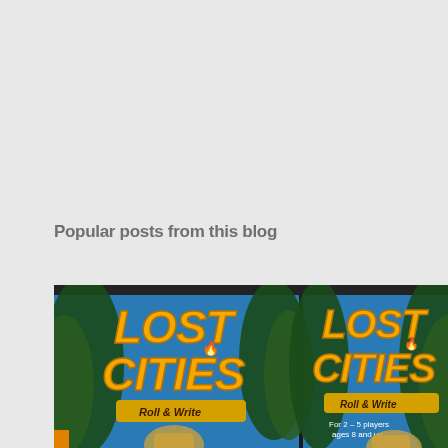Popular posts from this blog
[Figure (photo): Two copies of the board game box 'Lost Cities Roll & Write' side by side, showing gold stylized text on a blue background with jungle trees and stone idol decorations. Text on right box reads 'For 2–5 players ages 8 and up'.]